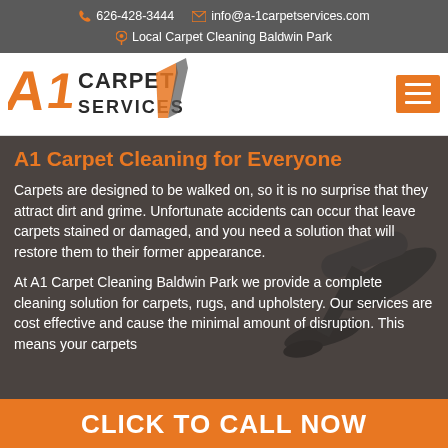626-428-3444  info@a-1carpetservices.com  Local Carpet Cleaning Baldwin Park
[Figure (logo): A1 Carpet Services logo with orange stylized text and blade graphic]
A1 Carpet Cleaning for Everyone
Carpets are designed to be walked on, so it is no surprise that they attract dirt and grime. Unfortunate accidents can occur that leave carpets stained or damaged, and you need a solution that will restore them to their former appearance.
At A1 Carpet Cleaning Baldwin Park we provide a complete cleaning solution for carpets, rugs, and upholstery. Our services are cost effective and cause the minimal amount of disruption. This means your carpets
CLICK TO CALL NOW